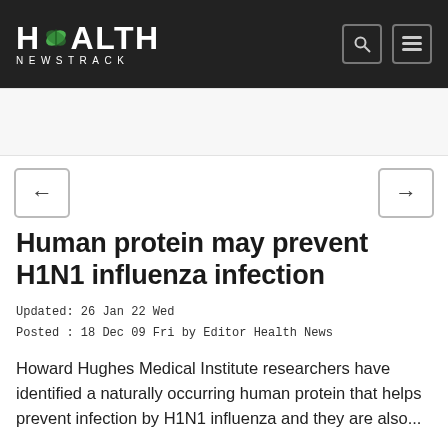Health Newstrack
[Figure (logo): Health Newstrack logo with green leaf icon on dark background]
Human protein may prevent H1N1 influenza infection
Updated: 26 Jan 22 Wed
Posted : 18 Dec 09 Fri by Editor Health News
Howard Hughes Medical Institute researchers have identified a naturally occurring human protein that helps prevent infection by H1N1 influenza and they are also...